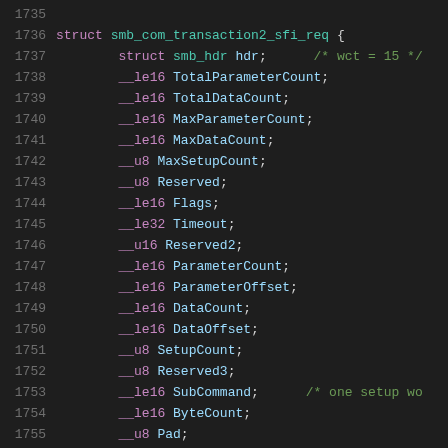1735 (blank line)
1736     struct smb_com_transaction2_sfi_req {
1737         struct smb_hdr hdr;      /* wct = 15 */
1738         __le16 TotalParameterCount;
1739         __le16 TotalDataCount;
1740         __le16 MaxParameterCount;
1741         __le16 MaxDataCount;
1742         __u8 MaxSetupCount;
1743         __u8 Reserved;
1744         __le16 Flags;
1745         __le32 Timeout;
1746         __u16 Reserved2;
1747         __le16 ParameterCount;
1748         __le16 ParameterOffset;
1749         __le16 DataCount;
1750         __le16 DataOffset;
1751         __u8 SetupCount;
1752         __u8 Reserved3;
1753         __le16 SubCommand;      /* one setup wo
1754         __le16 ByteCount;
1755         __u8 Pad;